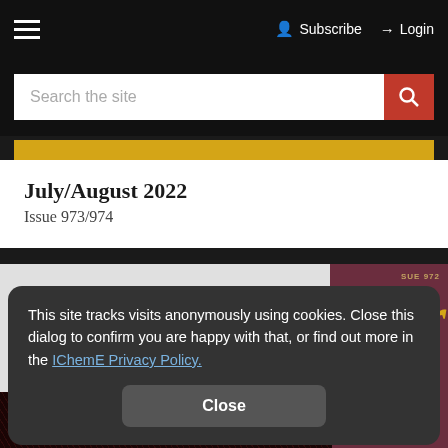☰   Subscribe   Login
Search the site
July/August 2022
Issue 973/974
This site tracks visits anonymously using cookies. Close this dialog to confirm you are happy with that, or find out more in the IChemE Privacy Policy.
Close